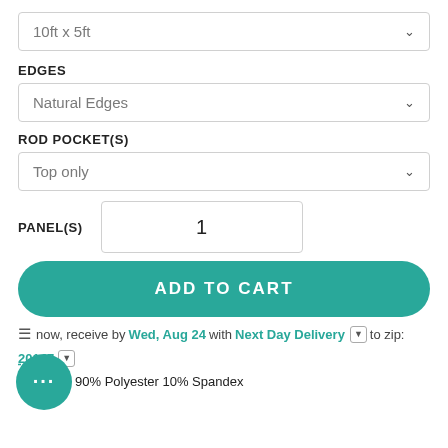10ft x 5ft
EDGES
Natural Edges
ROD POCKET(S)
Top only
PANEL(S)  1
ADD TO CART
Order now, receive by Wed, Aug 24 with Next Day Delivery to zip: 20147
Content: 90% Polyester 10% Spandex